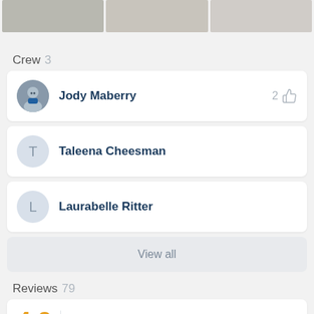[Figure (photo): Top strip of three photo thumbnails (room/interior images), partially cropped at top]
Crew 3
Jody Maberry — 2 likes
Taleena Cheesman
Laurabelle Ritter
View all
Reviews 79
4.9 rating